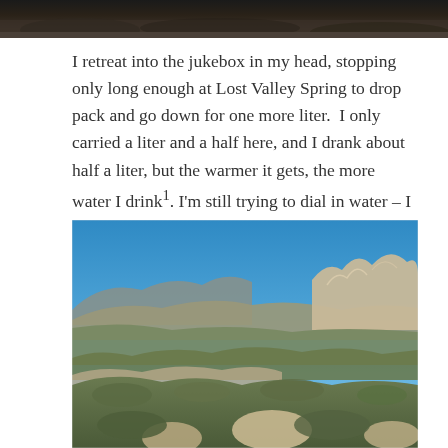[Figure (photo): Partial view of top photo, cropped at top of page, showing dark rocky or mountainous terrain]
I retreat into the jukebox in my head, stopping only long enough at Lost Valley Spring to drop pack and go down for one more liter. I only carried a liter and a half here, and I drank about half a liter, but the warmer it gets, the more water I drink¹. I'm still trying to dial in water – I always carry too much – so we'll see how this works.
[Figure (photo): Outdoor landscape photograph showing a wide desert mountain panorama with rocky outcroppings in the foreground, scrubby green vegetation, rolling brown hills in the mid-distance, and a clear blue sky.]